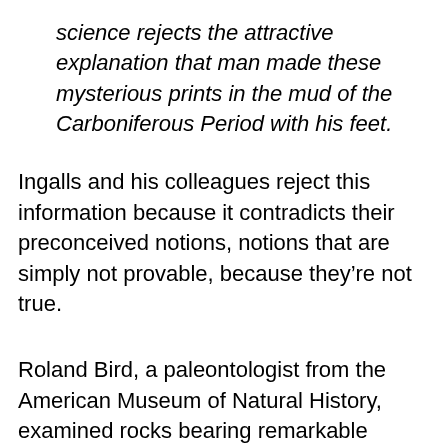science rejects the attractive explanation that man made these mysterious prints in the mud of the Carboniferous Period with his feet.
Ingalls and his colleagues reject this information because it contradicts their preconceived notions, notions that are simply not provable, because they're not true.
Roland Bird, a paleontologist from the American Museum of Natural History, examined rocks bearing remarkable human footprints that were discovered in a Cretaceous (claimed to be around 100,000,000 years old) limestone formation near Glen Rose, Texas. The following is his statement as published in a 1939 issue of Natural History